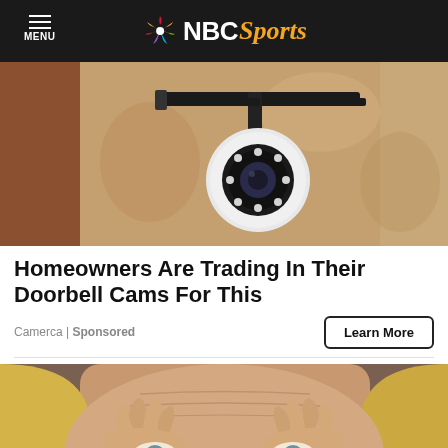MENU | NBC Sports
[Figure (photo): Security camera mounted on a wall, close-up view showing the camera lens with LED ring lights, mounted on a bracket against a textured stone/stucco wall]
Homeowners Are Trading In Their Doorbell Cams For This
Camerca | Sponsored
Learn More
[Figure (photo): Close-up of a blonde woman's face with her hands around her eyes making circles with her fingers, pulling the skin around her eyes]